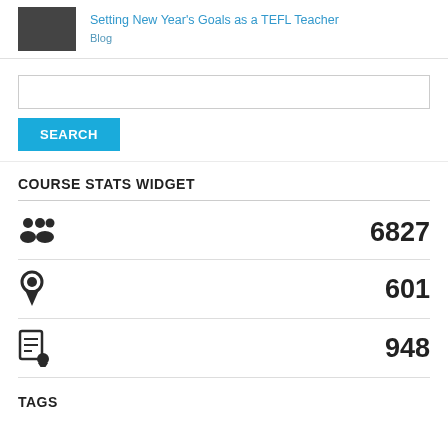Setting New Year's Goals as a TEFL Teacher
Blog
SEARCH
COURSE STATS WIDGET
6827
601
948
TAGS